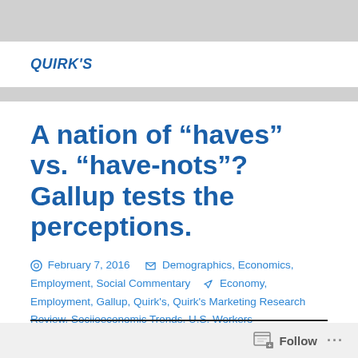QUIRK'S
A nation of “haves” vs. “have-nots”? Gallup tests the perceptions.
February 7, 2016   Demographics, Economics, Employment, Social Commentary   Economy, Employment, Gallup, Quirk’s, Quirk’s Marketing Research Review, Sociioeconomic Trends, U.S. Workers